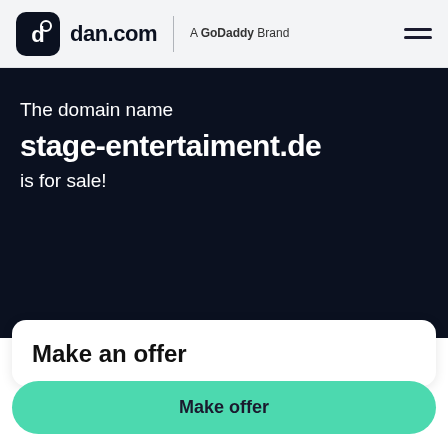dan.com | A GoDaddy Brand
The domain name
stage-entertaiment.de
is for sale!
Make an offer
Make offer